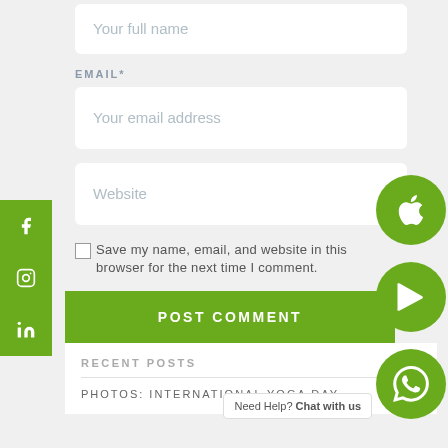Your full name
EMAIL*
Your email address
Website
Save my name, email, and website in this browser for the next time I comment.
POST COMMENT
RECENT POSTS
Need Help? Chat with us
PHOTOS: International Yoga Day